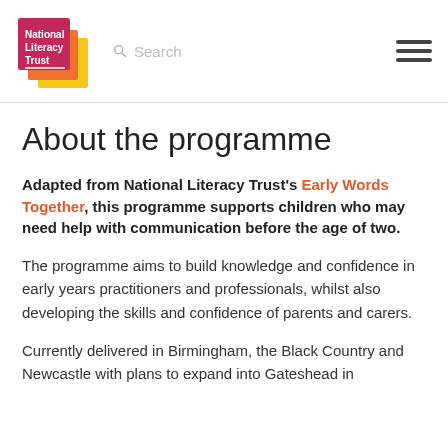[Figure (logo): National Literacy Trust logo — pink/red square with white text 'National Literacy Trust', overlapping orange and yellow geometric shapes]
About the programme
Adapted from National Literacy Trust's Early Words Together, this programme supports children who may need help with communication before the age of two.
The programme aims to build knowledge and confidence in early years practitioners and professionals, whilst also developing the skills and confidence of parents and carers.
Currently delivered in Birmingham, the Black Country and Newcastle with plans to expand into Gateshead in